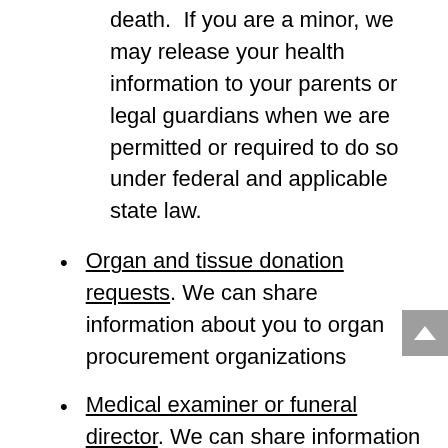death.  If you are a minor, we may release your health information to your parents or legal guardians when we are permitted or required to do so under federal and applicable state law.
Organ and tissue donation requests. We can share information about you to organ procurement organizations
Medical examiner or funeral director. We can share information with a coroner, medical examiner, or funeral director when an individual dies.